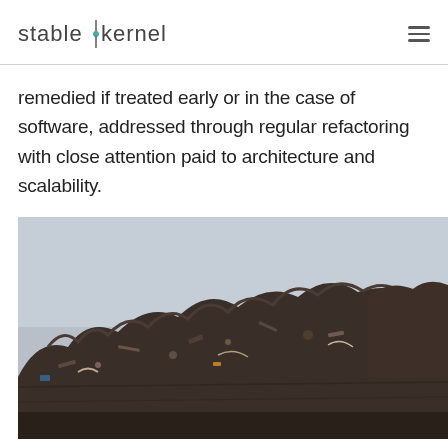stable kernel
remedied if treated early or in the case of software, addressed through regular refactoring with close attention paid to architecture and scalability.
[Figure (photo): A large pile of scrap metal and junk debris photographed against a grey sky — a junkyard or scrapyard scene.]